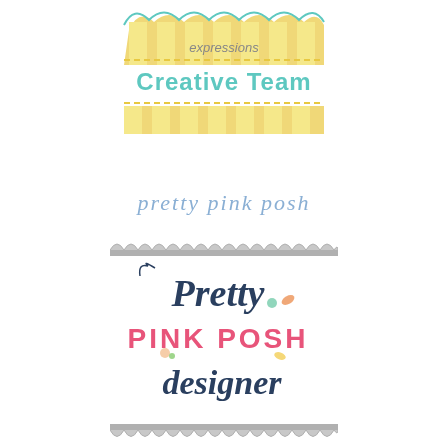[Figure (logo): Yellow and white striped decorative banner with scalloped/curled top edge and dashed bottom border, with text 'expressions' partially visible]
Creative Team
[Figure (illustration): Yellow and white striped rectangular decorative banner with dashed top border]
[Figure (logo): Script text 'pretty pink posh' in light blue italic handwriting style]
[Figure (logo): Pretty Pink Posh designer badge with scalloped gray border top and bottom, featuring 'Pretty' in navy cursive script, 'PINK POSH' in large hot pink bold sans-serif, 'designer' in navy italic script, and colorful confetti dots]